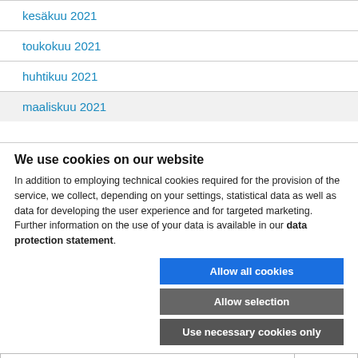kesäkuu 2021
toukokuu 2021
huhtikuu 2021
maaliskuu 2021
We use cookies on our website
In addition to employing technical cookies required for the provision of the service, we collect, depending on your settings, statistical data as well as data for developing the user experience and for targeted marketing. Further information on the use of your data is available in our data protection statement.
Allow all cookies
Allow selection
Use necessary cookies only
✓ Necessary technical cookies □ Functional cookies □ Statistics cookies □ Marketing cookies Show details